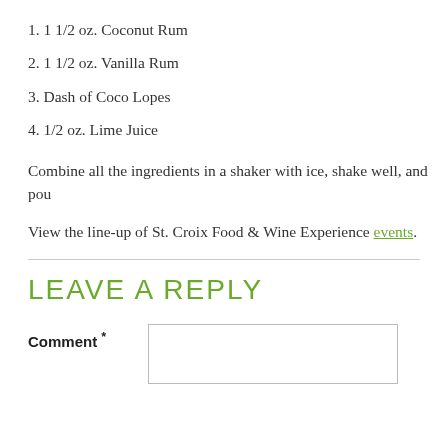1. 1 1/2 oz. Coconut Rum
2. 1 1/2 oz. Vanilla Rum
3. Dash of Coco Lopes
4. 1/2 oz. Lime Juice
Combine all the ingredients in a shaker with ice, shake well, and pou
View the line-up of St. Croix Food & Wine Experience events.
LEAVE A REPLY
Comment *